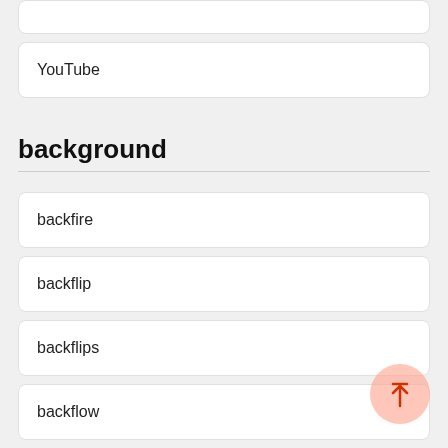YouTube
background
backfire
backflip
backflips
backflow